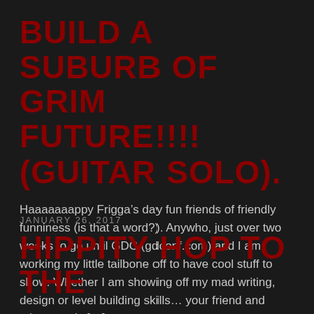BUILD A SUBURB OF GRIM FUTURE!!!! (GUITAR SOLO).
Haaaaaaappy Frigga’s day fun friends of friendly funniness (is that a word?). Anywho, just over two weeks to go until GDC (gdconf.com) and I am working my little tailbone off to have cool stuff to show. Whether I am showing off my mad writing, design or level building skills… your friend and mine, me, is […]
JANUARY 26, 2017
HIPPITY HOP TO THE